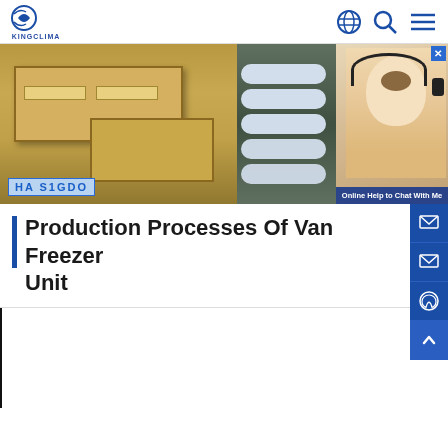KINGCLIMA
[Figure (photo): Top image strip showing wooden crate boxes being shipped (left), white curved parts/components on green background (center), and a woman with headset customer service representative (right) with 'Online Help to Chat With Me' overlay]
Production Processes Of Van Freezer Unit
[Figure (photo): Bottom strip of three photos showing van freezer unit production components: engine/compressor assembly, heat exchanger/evaporator coil, and close-up of refrigeration components]